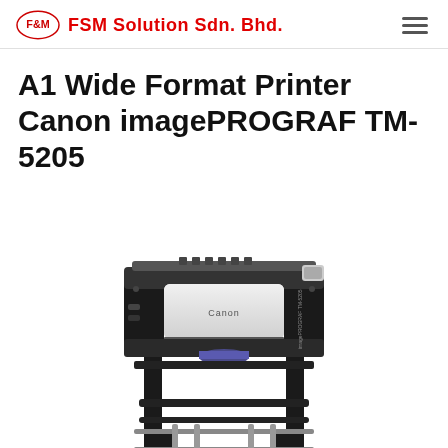FSM Solution Sdn. Bhd.
A1 Wide Format Printer Canon imagePROGRAF TM-5205
[Figure (photo): Canon imagePROGRAF TM-5205 A1 wide format printer on a stand with basket, shown in black and white/grey color scheme]